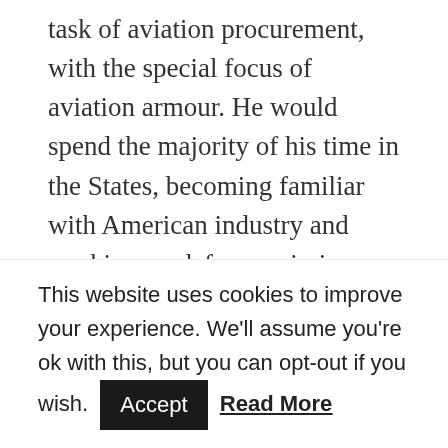task of aviation procurement, with the special focus of aviation armour. He would spend the majority of his time in the States, becoming familiar with American industry and working on defence missions and developments, including the M4 Sherman Tank, named after the American Civil War General William Sherman. MacGregor's contribution to this project were huge and it would be this machine which was one of the most successful allied weapons during the autumn years of the War, there would be close to 50,000 M4 Sherman tanks built between 1942 and the
This website uses cookies to improve your experience. We'll assume you're ok with this, but you can opt-out if you wish. Accept Read More